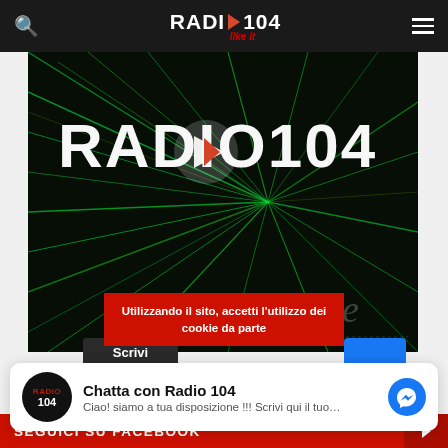RADIO▶104 like it
[Figure (screenshot): Radio 104 logo on dark background with green laser light rays and a play button overlay]
Utilizzando il sito, accetti l'utilizzo dei cookie da parte
Chatta con Radio 104 — Ciao! siamo a tua disposizione !!! Scrivi qui il tuo…
SEGUICI SU FACEBOOK